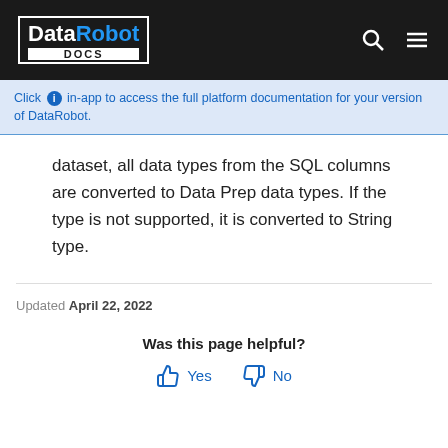DataRobot DOCS
Click in-app to access the full platform documentation for your version of DataRobot.
dataset, all data types from the SQL columns are converted to Data Prep data types. If the type is not supported, it is converted to String type.
Updated April 22, 2022
Was this page helpful?
Yes  No